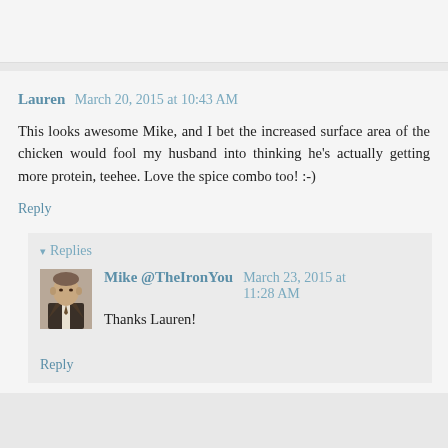Lauren  March 20, 2015 at 10:43 AM
This looks awesome Mike, and I bet the increased surface area of the chicken would fool my husband into thinking he's actually getting more protein, teehee. Love the spice combo too! :-)
Reply
Replies
[Figure (photo): Small avatar photo of a man in a suit, black and white or sepia tone]
Mike @TheIronYou  March 23, 2015 at 11:28 AM
Thanks Lauren!
Reply